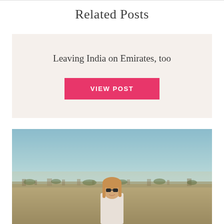Related Posts
Leaving India on Emirates, too
VIEW POST
[Figure (photo): A woman with sunglasses and long hair smiling, standing outdoors with a wide panoramic landscape view behind her under a hazy blue-teal sky, likely in India (Rajasthan area).]